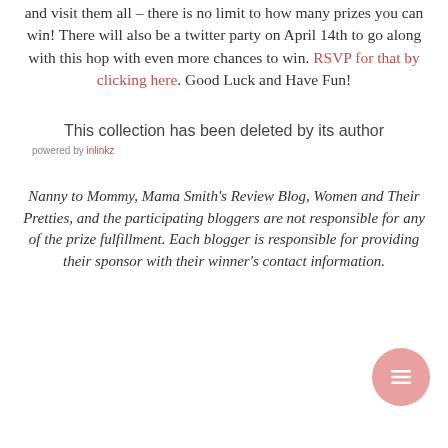and visit them all – there is no limit to how many prizes you can win! There will also be a twitter party on April 14th to go along with this hop with even more chances to win. RSVP for that by clicking here. Good Luck and Have Fun!
This collection has been deleted by its author
powered by inlinkz
Nanny to Mommy, Mama Smith's Review Blog, Women and Their Pretties, and the participating bloggers are not responsible for any of the prize fulfillment. Each blogger is responsible for providing their sponsor with their winner's contact information.